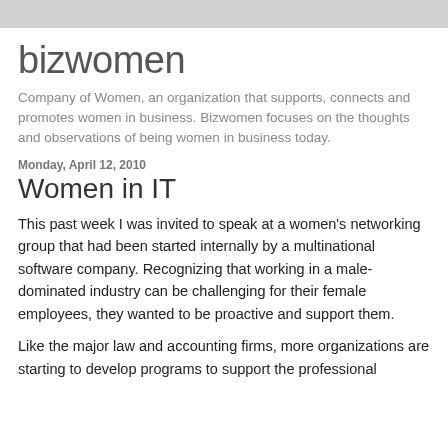bizwomen
Company of Women, an organization that supports, connects and promotes women in business. Bizwomen focuses on the thoughts and observations of being women in business today.
Monday, April 12, 2010
Women in IT
This past week I was invited to speak at a women's networking group that had been started internally by a multinational software company. Recognizing that working in a male-dominated industry can be challenging for their female employees, they wanted to be proactive and support them.
Like the major law and accounting firms, more organizations are starting to develop programs to support the professional